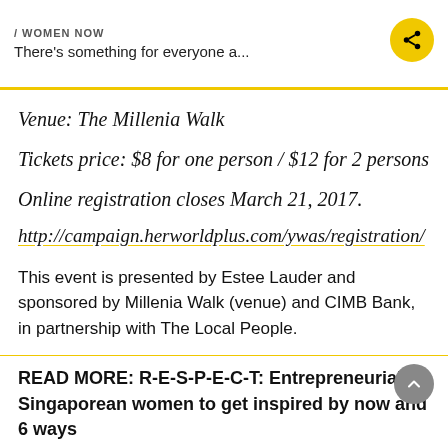/ WOMEN NOW
There's something for everyone a...
Venue: The Millenia Walk
Tickets price: $8 for one person / $12 for 2 persons
Online registration closes March 21, 2017.
http://campaign.herworldplus.com/ywas/registration/
This event is presented by Estee Lauder and sponsored by Millenia Walk (venue) and CIMB Bank, in partnership with The Local People.
READ MORE: R-E-S-P-E-C-T: Entrepreneurial Singaporean women to get inspired by now and 6 ways